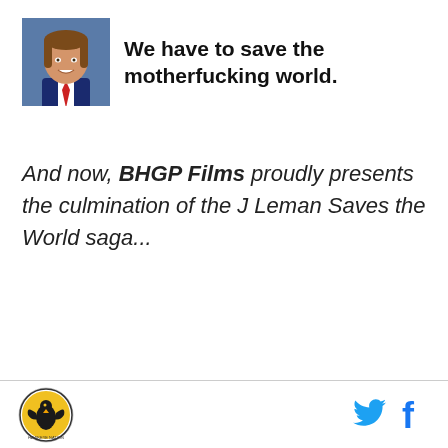[Figure (photo): Small avatar/headshot photo of a man with brown hair, smiling, wearing a suit, against a blue background]
We have to save the motherfucking world.
And now, BHGP Films proudly presents the culmination of the J Leman Saves the World saga...
[Figure (logo): BHGP site logo: eagle/hawk emblem with gold and black colors on white circular badge]
[Figure (logo): Twitter bird icon in blue]
[Figure (logo): Facebook 'f' icon in blue]